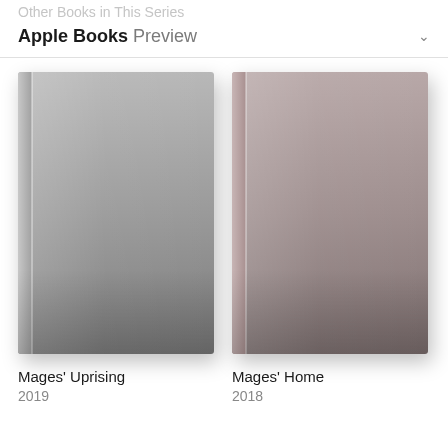Other Books in This Series
Apple Books Preview
[Figure (illustration): Book cover for Mages' Uprising — plain grey gradient hardcover with no title text on cover]
Mages' Uprising
2019
[Figure (illustration): Book cover for Mages' Home — plain mauve/rose-grey gradient hardcover with no title text on cover]
Mages' Home
2018